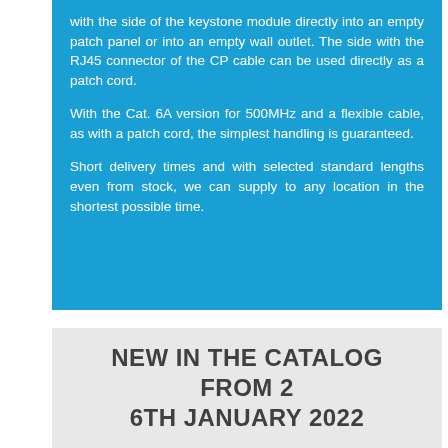with the side of the keystone module directly into an empty patch panel or into an empty wall outlet. The side with the RJ45 connector of the CP cable can be used directly as a patch cord.

With the Cat. 6A version for 500MHz and a flexible cable, as with a patch cord, the simplest handling is guaranteed.

Short delivery times and with selected standard lengths even from stock, we can supply to any location in the shortest possible time.
NEW IN THE CATALOG FROM 2 6TH JANUARY 2022